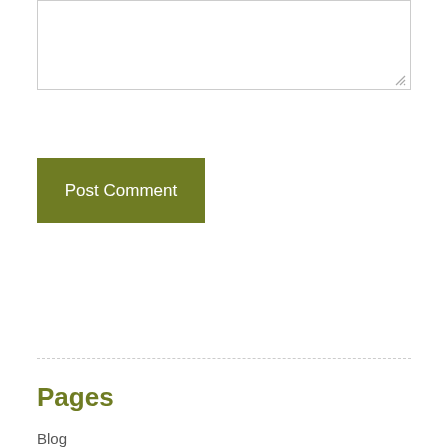[Figure (other): Text area input box with resize handle in bottom-right corner]
Post Comment
Pages
Blog
Contact Us
Conversations with Teachers (MCHS)
Database of Photos & Texts (MCHS)
FAQ – MCHS 2015 Reunion
Grab-Bag for Attendees (MCHS)